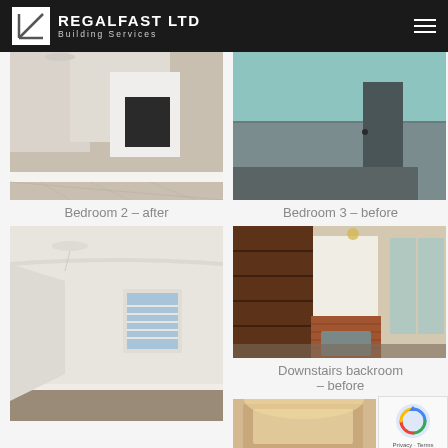REGALFAST LTD Building Services
[Figure (photo): Interior room photo showing laminate flooring and fireplace with white surround - Bedroom 2 after renovation]
Bedroom 2 – after
[Figure (photo): Interior bedroom photo with teal/mint walls and dark carpet - Bedroom 3 before renovation]
Bedroom 3 – before
[Figure (photo): Empty room with cream walls, coving, small window with shutters and brown carpet - after renovation]
[Figure (photo): Room with dark wood built-in shelving and fireplace, brick surround, gas fire - Downstairs backroom before renovation]
Downstairs backroom – before
[Figure (photo): Partially visible photo of another room - cropped at bottom of page]